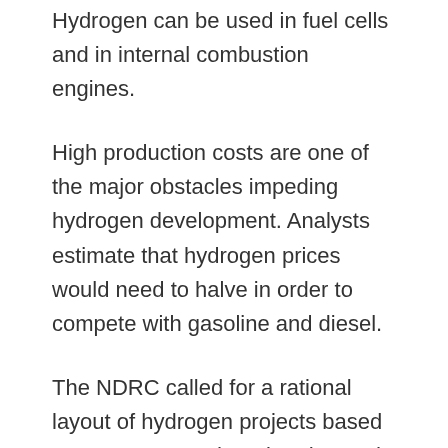Hydrogen can be used in fuel cells and in internal combustion engines.
High production costs are one of the major obstacles impeding hydrogen development. Analysts estimate that hydrogen prices would need to halve in order to compete with gasoline and diesel.
The NDRC called for a rational layout of hydrogen projects based on resources and market demand to avoid disorderly competition.
“Local government will be strictly forbidden to blindly follow the trend of hydrogen project construction and will be prevented from building low-end projects in order to avoid the waste of resources,” said Wang.
Almost all provinces and regions in China have included